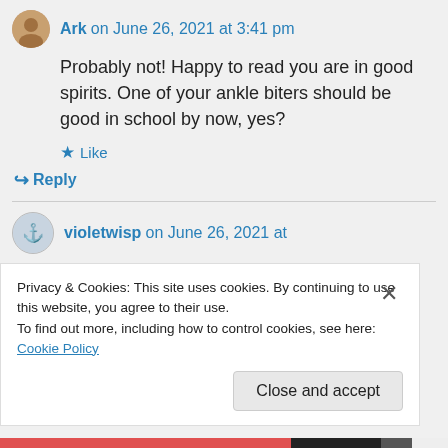Ark on June 26, 2021 at 3:41 pm
Probably not! Happy to read you are in good spirits. One of your ankle biters should be good in school by now, yes?
Like
Reply
violetwisp on June 26, 2021 at
Privacy & Cookies: This site uses cookies. By continuing to use this website, you agree to their use.
To find out more, including how to control cookies, see here: Cookie Policy
Close and accept